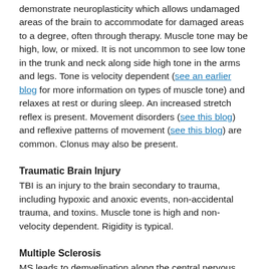demonstrate neuroplasticity which allows undamaged areas of the brain to accommodate for damaged areas to a degree, often through therapy. Muscle tone may be high, low, or mixed. It is not uncommon to see low tone in the trunk and neck along side high tone in the arms and legs. Tone is velocity dependent (see an earlier blog for more information on types of muscle tone) and relaxes at rest or during sleep. An increased stretch reflex is present. Movement disorders (see this blog) and reflexive patterns of movement (see this blog) are common. Clonus may also be present.
Traumatic Brain Injury
TBI is an injury to the brain secondary to trauma, including hypoxic and anoxic events, non-accidental trauma, and toxins. Muscle tone is high and non-velocity dependent. Rigidity is typical.
Multiple Sclerosis
MS leads to demyelination along the central nervous system nerves, though the axons are spared. Myelin, which ‘insulates’ nerves and helps signals flow smoothly, is lost, leaving scarred or ‘sclerotic’ areas called lesions or plaques. If motor nerves are damaged, high tone can result. This tone is non-velocity